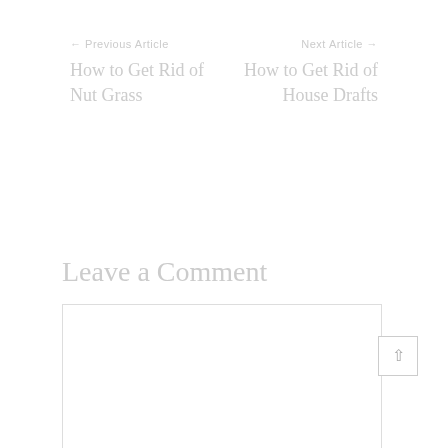← Previous Article
Next Article →
How to Get Rid of Nut Grass
How to Get Rid of House Drafts
Leave a Comment